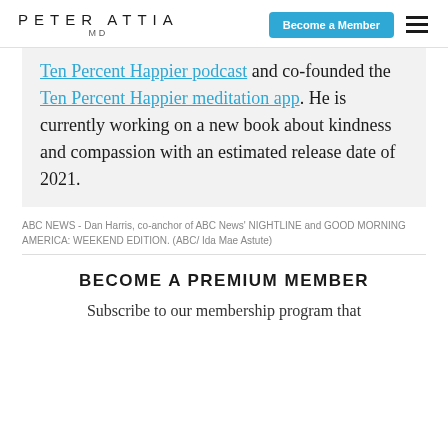PETER ATTIA MD | Become a Member
Happier podcast and co-founded the Ten Percent Happier meditation app. He is currently working on a new book about kindness and compassion with an estimated release date of 2021.
ABC NEWS - Dan Harris, co-anchor of ABC News' NIGHTLINE and GOOD MORNING AMERICA: WEEKEND EDITION. (ABC/ Ida Mae Astute)
BECOME A PREMIUM MEMBER
Subscribe to our membership program that